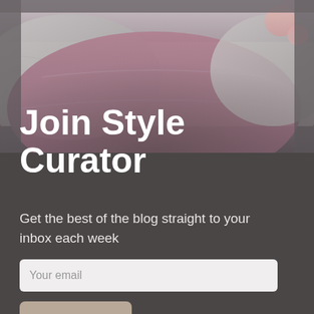[Figure (photo): Background photo of decorative pillows on a sofa — a mauve/dusty pink large pillow in front, grey linen textured cushions behind, with a hint of flowers in the upper right. The photo occupies the top portion of the page and fades into a dark grey background below.]
Join Style Curator
Get the best of the blog straight to your inbox each week
Your email
Sign up
We respect your privacy. Unsubscribe at any time.